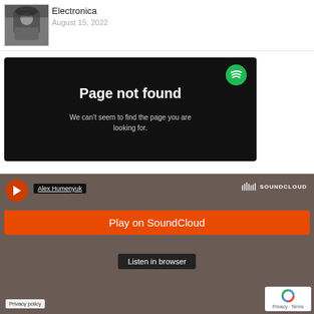[Figure (photo): Thumbnail photo of a person wearing a blue cap and glasses, dark clothing, seated.]
Electronica
August 15, 2022
[Figure (screenshot): Spotify 'Page not found' error screen. Dark background with Spotify logo top right. Bold white text: 'Page not found'. Smaller grey text: 'We can't seem to find the page you are looking for.']
[Figure (screenshot): SoundCloud embedded player widget. Dark brownish background. Shows artist name 'Alex Humenyuk', SoundCloud logo. Orange 'Play on SoundCloud' button. Dark 'Listen in browser' button. Privacy policy link bottom left. reCAPTCHA badge bottom right.]